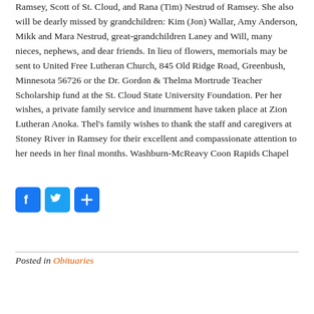Ramsey, Scott of St. Cloud, and Rana (Tim) Nestrud of Ramsey. She also will be dearly missed by grandchildren: Kim (Jon) Wallar, Amy Anderson, Mikk and Mara Nestrud, great-grandchildren Laney and Will, many nieces, nephews, and dear friends. In lieu of flowers, memorials may be sent to United Free Lutheran Church, 845 Old Ridge Road, Greenbush, Minnesota 56726 or the Dr. Gordon & Thelma Mortrude Teacher Scholarship fund at the St. Cloud State University Foundation. Per her wishes, a private family service and inurnment have taken place at Zion Lutheran Anoka. Thel's family wishes to thank the staff and caregivers at Stoney River in Ramsey for their excellent and compassionate attention to her needs in her final months. Washburn-McReavy Coon Rapids Chapel
[Figure (other): Social sharing icons: Facebook, Twitter, and a generic share/plus button]
Posted in Obituaries